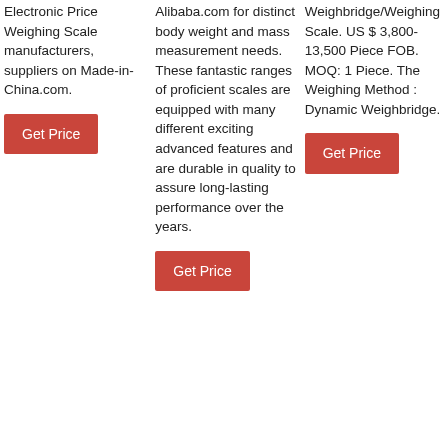Electronic Price Weighing Scale manufacturers, suppliers on Made-in-China.com.
Get Price
Alibaba.com for distinct body weight and mass measurement needs. These fantastic ranges of proficient scales are equipped with many different exciting advanced features and are durable in quality to assure long-lasting performance over the years.
Get Price
Weighbridge/Weighing Scale. US $ 3,800-13,500 Piece FOB. MOQ: 1 Piece. The Weighing Method : Dynamic Weighbridge.
Get Price